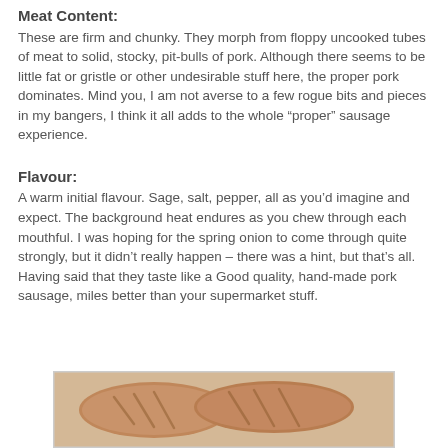Meat Content:
These are firm and chunky. They morph from floppy uncooked tubes of meat to solid, stocky, pit-bulls of pork. Although there seems to be little fat or gristle or other undesirable stuff here, the proper pork dominates. Mind you, I am not averse to a few rogue bits and pieces in my bangers, I think it all adds to the whole “proper” sausage experience.
Flavour:
A warm initial flavour. Sage, salt, pepper, all as you’d imagine and expect. The background heat endures as you chew through each mouthful. I was hoping for the spring onion to come through quite strongly, but it didn’t really happen – there was a hint, but that’s all. Having said that they taste like a Good quality, hand-made pork sausage, miles better than your supermarket stuff.
[Figure (photo): Photo of cooked sausages on a plate]